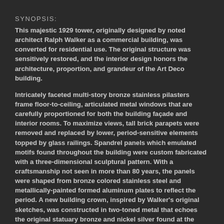SYNOPSIS:
This majestic 1929 tower, originally designed by noted architect Ralph Walker as a commercial building, was converted for residential use. The original structure was sensitively restored, and the interior design honors the architecture, proportion, and grandeur of the Art Deco building.
Intricately faceted multi-story bronze stainless pilasters frame floor-to-ceiling, articulated metal windows that are carefully proportioned for both the building façade and interior rooms. To maximize views, tall brick parapets were removed and replaced by lower, period-sensitive elements topped by glass railings. Spandrel panels which emulated motifs found throughout the building were custom fabricated with a three-dimensional sculptural pattern. With a craftsmanship not seen in more than 80 years, the panels were shaped from bronze colored stainless steel and metallically-painted formed aluminum plates to reflect the period. A new building crown, inspired by Walker's original sketches, was constructed in two-toned metal that echoes the original statuary bronze and nickel silver found at the building's entrance.
The interior design is defined by graciously proportioned floor